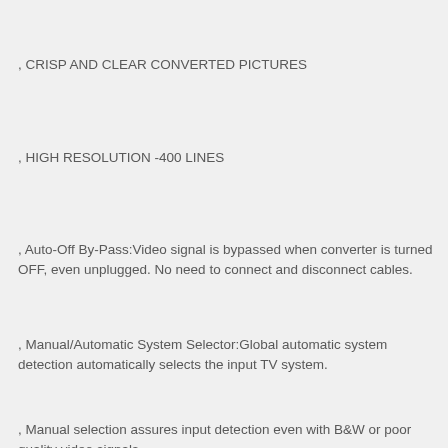, CRISP AND CLEAR CONVERTED PICTURES
, HIGH RESOLUTION -400 LINES
, Auto-Off By-Pass:Video signal is bypassed when converter is turned OFF, even unplugged. No need to connect and disconnect cables.
, Manual/Automatic System Selector:Global automatic system detection automatically selects the input TV system.
, Manual selection assures input detection even with B&W or poor quality video signals.